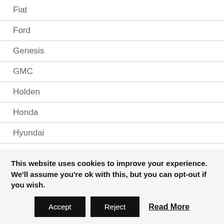Fiat
Ford
Genesis
GMC
Holden
Honda
Hyundai
Infiniti
Isuzu
Jeep
Kia
This website uses cookies to improve your experience. We'll assume you're ok with this, but you can opt-out if you wish.
Accept  Reject  Read More